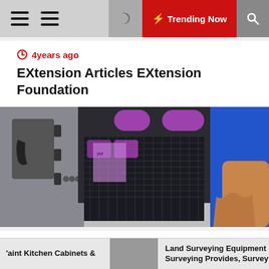Trending Now
4 years ago
EXtension Articles EXtension Foundation
[Figure (photo): A person handling industrial HVAC/air filter equipment mounted inside a van or truck door, with purple filter pads visible]
3 months ago
Industrial Equipment Such As Hand Trucks, Heaters, Massive Fans, MRO Provides, Service Carts, Shelving, And
Paint Kitchen Cabinets &     Land Surveying Equipment Surveying Provides, Survey